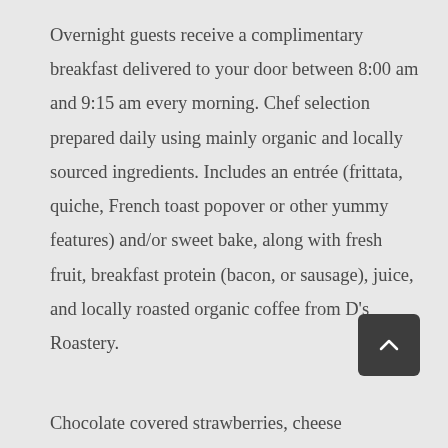Overnight guests receive a complimentary breakfast delivered to your door between 8:00 am and 9:15 am every morning. Chef selection prepared daily using mainly organic and locally sourced ingredients. Includes an entrée (frittata, quiche, French toast popover or other yummy features) and/or sweet bake, along with fresh fruit, breakfast protein (bacon, or sausage), juice, and locally roasted organic coffee from D's Roastery.
[Figure (other): Back to top button — dark rounded square with upward chevron arrow]
Chocolate covered strawberries, cheese